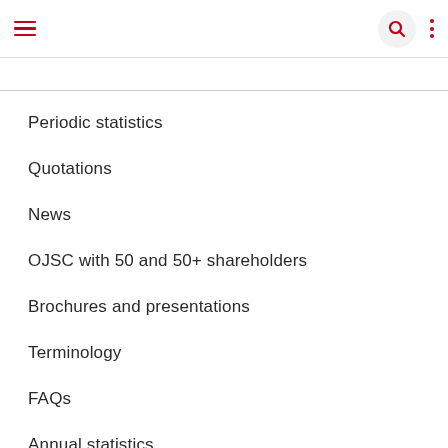Navigation menu with hamburger icon, search icon, and three-dot menu
Periodic statistics
Quotations
News
OJSC with 50 and 50+ shareholders
Brochures and presentations
Terminology
FAQs
Annual statistics